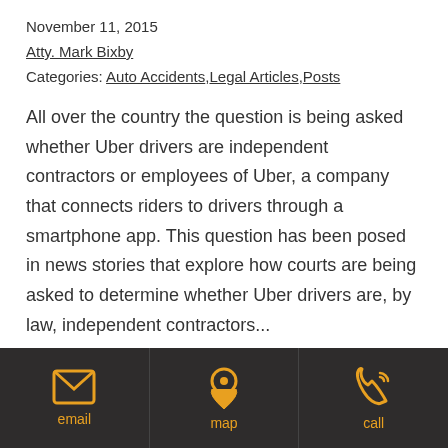November 11, 2015
Atty. Mark Bixby
Categories: Auto Accidents, Legal Articles, Posts
All over the country the question is being asked whether Uber drivers are independent contractors or employees of Uber, a company that connects riders to drivers through a smartphone app. This question has been posed in news stories that explore how courts are being asked to determine whether Uber drivers are, by law, independent contractors...
Read More »
email | map | call